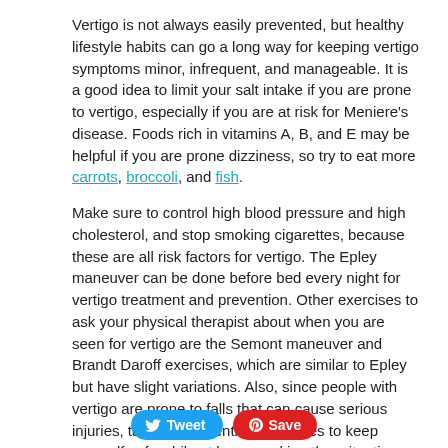Vertigo is not always easily prevented, but healthy lifestyle habits can go a long way for keeping vertigo symptoms minor, infrequent, and manageable. It is a good idea to limit your salt intake if you are prone to vertigo, especially if you are at risk for Meniere's disease. Foods rich in vitamins A, B, and E may be helpful if you are prone dizziness, so try to eat more carrots, broccoli, and fish.
Make sure to control high blood pressure and high cholesterol, and stop smoking cigarettes, because these are all risk factors for vertigo. The Epley maneuver can be done before bed every night for vertigo treatment and prevention. Other exercises to ask your physical therapist about when you are seen for vertigo are the Semont maneuver and Brandt Daroff exercises, which are similar to Epley but have slight variations. Also, since people with vertigo are prone to falls that can cause serious injuries, take fall-prevention measures to keep yourself safe while at home and in other situations that you can control.
[Figure (other): Tweet and Save buttons at the bottom of the page]